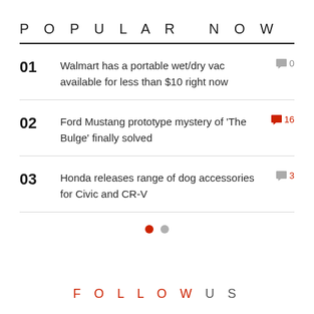POPULAR NOW
01  Walmart has a portable wet/dry vac available for less than $10 right now  0
02  Ford Mustang prototype mystery of 'The Bulge' finally solved  16
03  Honda releases range of dog accessories for Civic and CR-V  3
FOLLOW US